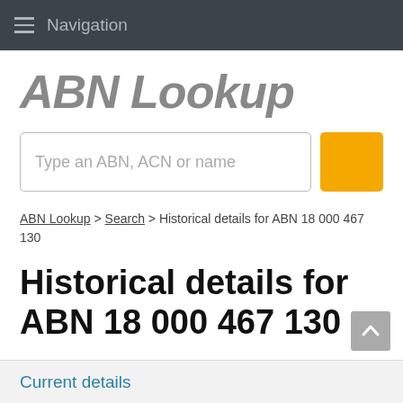Navigation
ABN Lookup
Type an ABN, ACN or name
ABN Lookup > Search > Historical details for ABN 18 000 467 130
Historical details for ABN 18 000 467 130
Current details